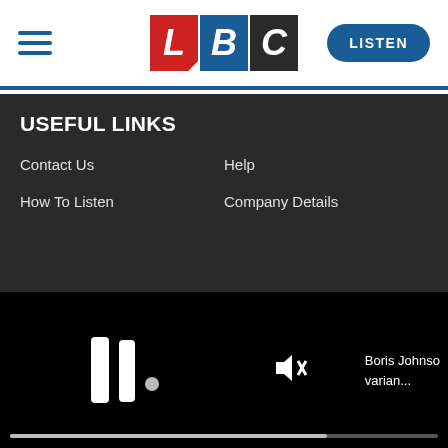[Figure (logo): LBC radio logo with red L, blue B, dark C tiles, and hamburger menu and LISTEN button in header]
USEFUL LINKS
Contact Us
Help
How To Listen
Company Details
[Figure (screenshot): Video player on black background with pause icon, muted speaker icon, and text 'Boris Johnson varian...' with progress bar at bottom]